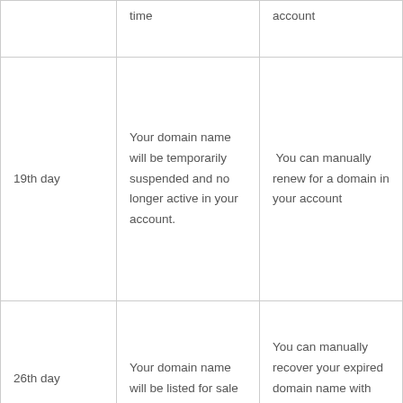|  | time | account |
| 19th day | Your domain name will be temporarily suspended and no longer active in your account. | You can manually renew for a domain in your account |
| 26th day | Your domain name will be listed for sale | You can manually recover your expired domain name with the |